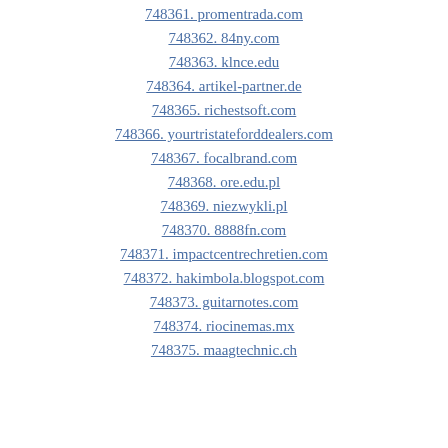748361. promentrada.com
748362. 84ny.com
748363. klnce.edu
748364. artikel-partner.de
748365. richestsoft.com
748366. yourtristateforddealers.com
748367. focalbrand.com
748368. ore.edu.pl
748369. niezwykli.pl
748370. 8888fn.com
748371. impactcentrechretien.com
748372. hakimbola.blogspot.com
748373. guitarnotes.com
748374. riocinemas.mx
748375. maagtechnic.ch